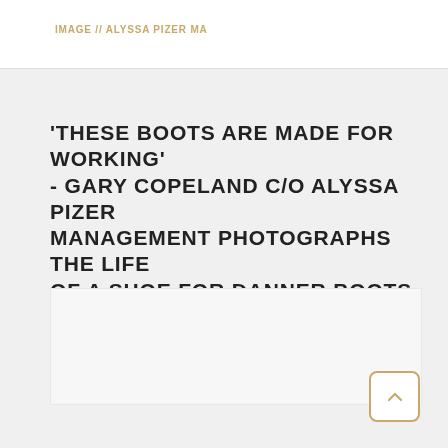IMAGE // ALYSSA PIZER MA
'THESE BOOTS ARE MADE FOR WORKING' - GARY COPELAND C/O ALYSSA PIZER MANAGEMENT PHOTOGRAPHS THE LIFE OF A SHOE FOR DANNER BOOTS
© // 14 files // show complete portfolio